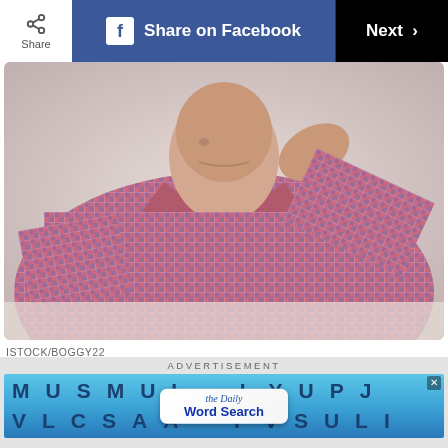Share  |  Share on Facebook  |  Next
[Figure (photo): Man in a pink and blue checked dress shirt, head bowed and hand raised to his head, appearing stressed or frustrated, seated against a light background.]
ISTOCK/BOGGY22
Understand your anger
Think like a detective and track down clues about the kinds of situations, people, and events that trigger your anger, says Dr. Nicholson. Once you're
[Figure (advertisement): Advertisement banner: The Daily Word Search game advertisement with letter grid background in blue tones.]